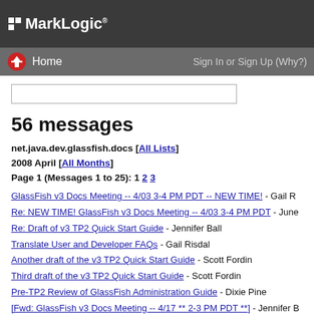MarkLogic
Home | Sign In or Sign Up (Why?)
56 messages
net.java.dev.glassfish.docs [All Lists]
2008 April [All Months]
Page 1 (Messages 1 to 25): 1 2 3
GlassFish v3 Docs Meeting -- 4/03 3-4 PM PDT -- NEW TIME! - Gail R
Re: NEW TIME! GlassFish v3 Docs Meeting -- 4/03 3-4 PM PDT - June
Re: Draft of v3 TP2 Quick Start Guide - Jennifer Ball
Translate User and Developer FAQs - Gail Risdal
Another draft of the v3 TP2 Quick Start Guide - Scott Fordin
Third draft of the v3 TP2 Quick Start Guide - Scott Fordin
Pre-TP2 Review of GlassFish Administration Guide - Dixie Pine
[Fwd: GlassFish v3 Docs Meeting -- 4/17 ** 2-3 PM PDT **] - Jennifer B